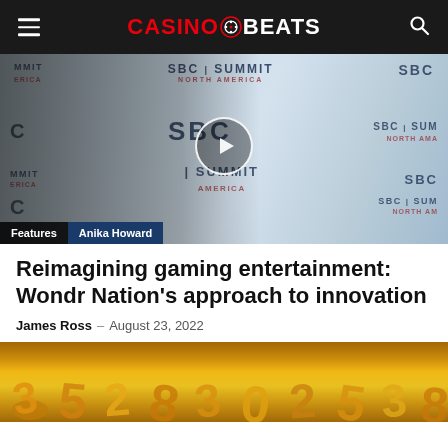CasinoBeats
[Figure (photo): Video thumbnail showing Anika Howard at SBC Summit North America event, with play button overlay. Labels: Features, Anika Howard]
Reimagining gaming entertainment: Wondr Nation's approach to innovation
James Ross - August 23, 2022
[Figure (photo): Close-up photo of golden/yellow 3D numbers scattered on a surface]